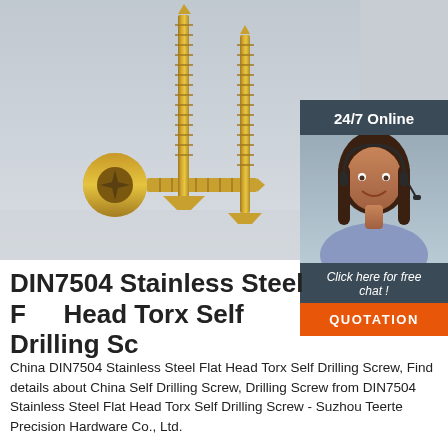[Figure (photo): Three gold/yellow-zinc plated flat head Torx self-drilling screws on a light gray surface, with watermark text MUNSON partially visible at top]
[Figure (photo): Customer service representative woman with headset smiling, with 24/7 Online label at top and chat/quotation overlay]
DIN7504 Stainless Steel Flat Head Torx Self Drilling Screw
China DIN7504 Stainless Steel Flat Head Torx Self Drilling Screw, Find details about China Self Drilling Screw, Drilling Screw from DIN7504 Stainless Steel Flat Head Torx Self Drilling Screw - Suzhou Teerte Precision Hardware Co., Ltd.